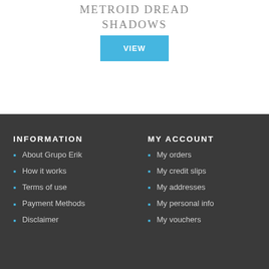METROID DREAD SHADOWS
VIEW
INFORMATION
About Grupo Erik
How it works
Terms of use
Payment Methods
Disclaimer
MY ACCOUNT
My orders
My credit slips
My addresses
My personal info
My vouchers